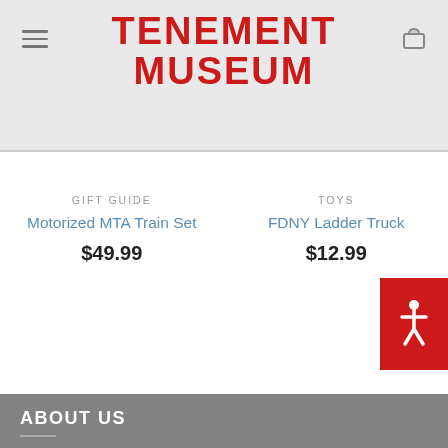TENEMENT MUSEUM
GIFT GUIDE
Motorized MTA Train Set
$49.99
TOYS
FDNY Ladder Truck
$12.99
ABOUT US
Your purchase helps the Tenement Museum realize its vision of a society that embraces and values the fundamental role of immigration in the evolving American identity.
Find Us on Social Media: